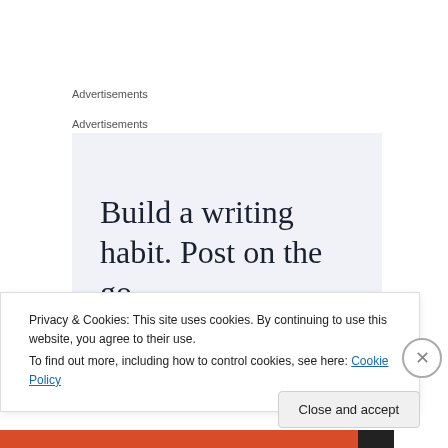Advertisements
Advertisements
[Figure (illustration): Advertisement banner with light blue-gray background and large serif text reading 'Build a writing habit. Post on the go.']
Privacy & Cookies: This site uses cookies. By continuing to use this website, you agree to their use.
To find out more, including how to control cookies, see here: Cookie Policy
Close and accept